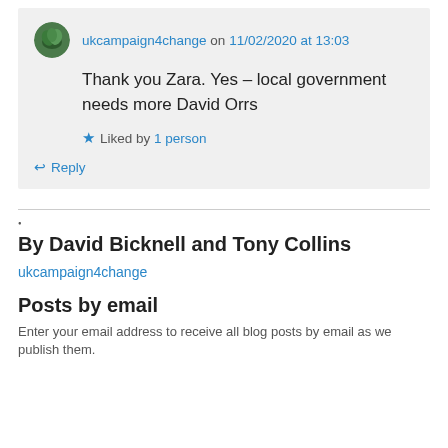ukcampaign4change on 11/02/2020 at 13:03
Thank you Zara. Yes – local government needs more David Orrs
Liked by 1 person
Reply
•
By David Bicknell and Tony Collins
ukcampaign4change
Posts by email
Enter your email address to receive all blog posts by email as we publish them.